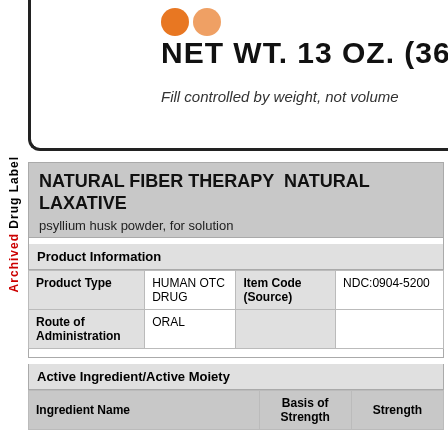Archived Drug Label
[Figure (photo): Partial product package label showing orange circles logo, NET WT. 13 OZ. (368g), and text 'Fill controlled by weight, not volume']
NATURAL FIBER THERAPY  NATURAL LAXATIVE
psyllium husk powder, for solution
Product Information
| Product Type |  | Item Code (Source) |  |
| --- | --- | --- | --- |
| Product Type | HUMAN OTC DRUG | Item Code (Source) | NDC:0904-5200 |
| Route of Administration | ORAL |  |  |
Active Ingredient/Active Moiety
| Ingredient Name | Basis of Strength | Strength |
| --- | --- | --- |